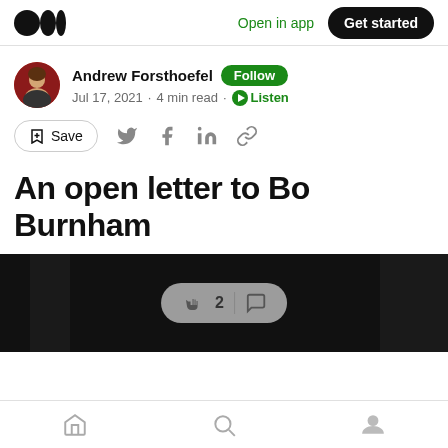Medium logo | Open in app | Get started
Andrew Forsthoefel · Follow · Jul 17, 2021 · 4 min read · Listen
Save
An open letter to Bo Burnham
[Figure (photo): Dark/black image with a clap reaction bar showing 2 claps and a comment icon]
Home | Search | Profile